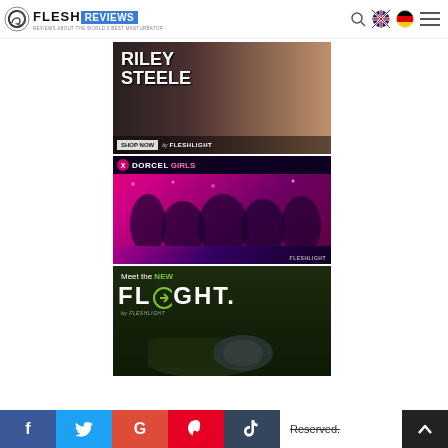FLESH REVIEWS - Reviews about the world's best masturbator
[Figure (screenshot): Riley Steele Fleshlight advertisement banner - dark background with text RILEY STEELE, product image, SHOP NOW button, by FLESHLIGHT branding]
[Figure (screenshot): Dorcel Girls Fleshlight advertisement banner - dark purple/pink background with Dorcel Girls logo and group photo, FLESHLIGHT branding at bottom]
[Figure (screenshot): Meet the NEW FLIGHT by Fleshlight advertisement banner - dark green background with FLIGHT logo and product image]
Reserved.
f  t  G  P  t  (social share buttons)